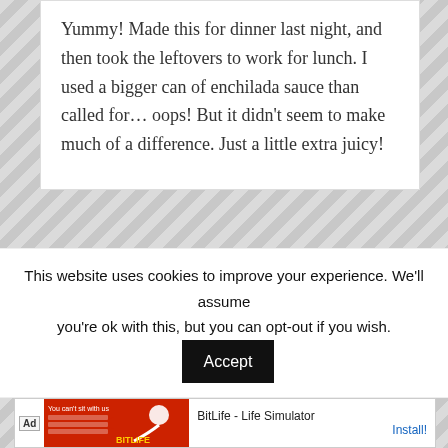Yummy! Made this for dinner last night, and then took the leftovers to work for lunch. I used a bigger can of enchilada sauce than called for… oops! But it didn't seem to make much of a difference. Just a little extra juicy!
EMILY BITES – FEBRUARY 3, 2012 @ 1:22 AM
Yay, glad you liked it!
This website uses cookies to improve your experience. We'll assume you're ok with this, but you can opt-out if you wish.
Accept
Ad — BitLife - Life Simulator — Install!